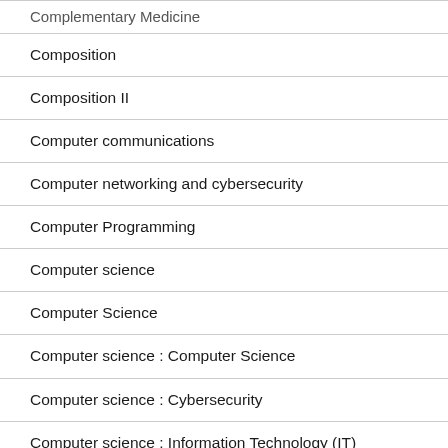Complementary Medicine
Composition
Composition II
Computer communications
Computer networking and cybersecurity
Computer Programming
Computer science
Computer Science
Computer science : Computer Science
Computer science : Cybersecurity
Computer science : Information Technology (IT)
Computer Science homework help